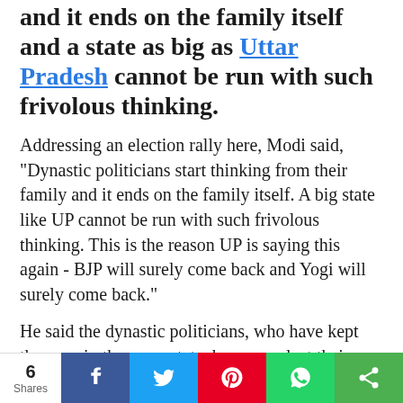and it ends on the family itself and a state as big as Uttar Pradesh cannot be run with such frivolous thinking.
Addressing an election rally here, Modi said, "Dynastic politicians start thinking from their family and it ends on the family itself. A big state like UP cannot be run with such frivolous thinking. This is the reason UP is saying this again - BJP will surely come back and Yogi will surely come back."
He said the dynastic politicians, who have kept the poor in the same state, have now lost their sleep.
"They feel that their vote bank is slipping. You have destroyed the country for the sake of vote